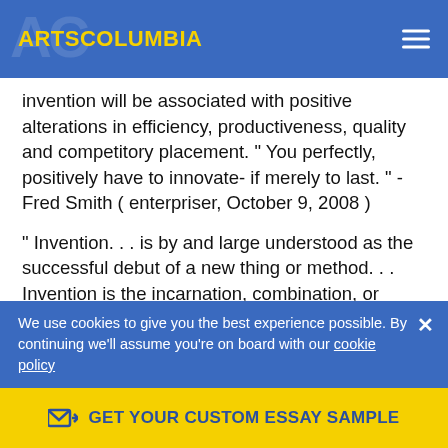ARTSCOLUMBIA
invention will be associated with positive alterations in efficiency, productiveness, quality and competitory placement. “ You perfectly, positively have to innovate- if merely to last. “ -Fred Smith ( enterpriser, October 9, 2008 )
“ Invention. . . is by and large understood as the successful debut of a new thing or method. . . Invention is the incarnation, combination, or synthesis of cognition in original, relevant, valued new merchandises, procedures, or services. ( Luecke and Katz 2003 )
Invention is portion of the concern at FedEx. It can be web services or the development of high-technology, FedEx sees invention as a strategic concern pattern
We use cookies to give you the best experience possible. By continuing we’ll assume you’re on board with our cookie policy
GET YOUR CUSTOM ESSAY SAMPLE